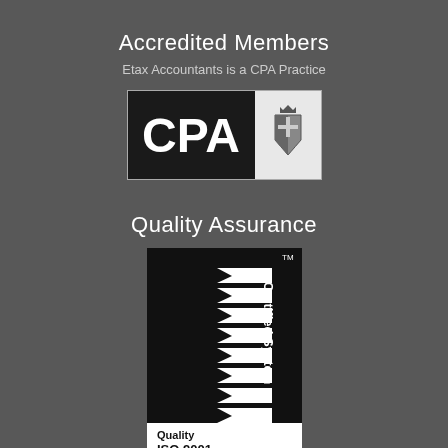Accredited Members
Etax Accountants is a CPA Practice
[Figure (logo): CPA Australia logo badge with black left panel showing 'CPA' in white and right panel with coat of arms emblem]
Quality Assurance
[Figure (logo): SAI Global Certified System badge for Quality ISO 9001 with chevron pattern on black background]
Information Security
[Figure (logo): SAI Global Certified System badge partially visible, similar chevron pattern on black background]